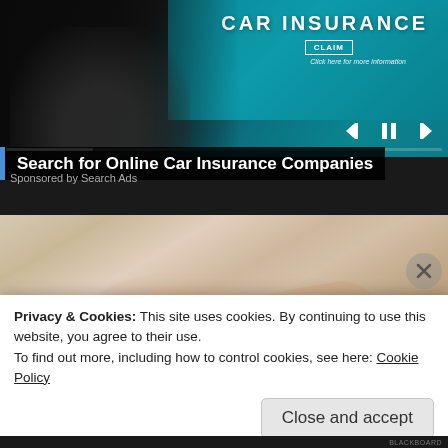[Figure (screenshot): Video player showing a car insurance advertisement. Screen displays 'CAR INSURANCE' with a CLAIM button and 'Click here for more information'. A dark silhouette of a person at a laptop is visible. Playback controls are shown at the bottom including progress bar and skip buttons.]
Search for Online Car Insurance Companies
Sponsored by Search Ads
[Figure (photo): Close-up photo of two hands holding each other, suggesting care or support, on a light wooden or fabric surface.]
Privacy & Cookies: This site uses cookies. By continuing to use this website, you agree to their use.
To find out more, including how to control cookies, see here: Cookie Policy
Close and accept